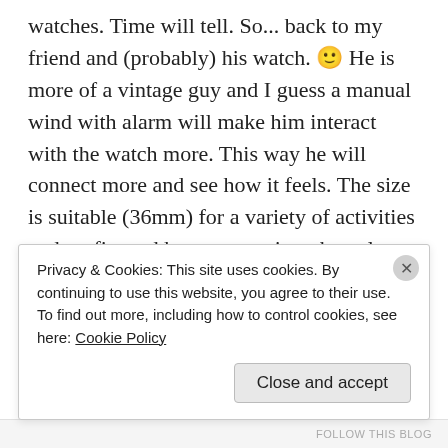watches. Time will tell. So... back to my friend and (probably) his watch. 🙂 He is more of a vintage guy and I guess a manual wind with alarm will make him interact with the watch more. This way he will connect more and see how it feels. The size is suitable (36mm) for a variety of activities and outfits and he can wear it on bracelet or on Tropic in the dental clinic, on leather with a suit or even on a Nato with summer beach attire. Just don't swim with it. Washing your hands and getting caught in the rain will be no problem because the watch is in fact Parawater. (how many times did I tell you how I love this term?) The bracelet is the original one the watch was made with in January 73. The curved end original Tropic, a brown leather strap and a colored Nato will provide just enough diversity to play whenever he desires a
Privacy & Cookies: This site uses cookies. By continuing to use this website, you agree to their use.
To find out more, including how to control cookies, see here: Cookie Policy